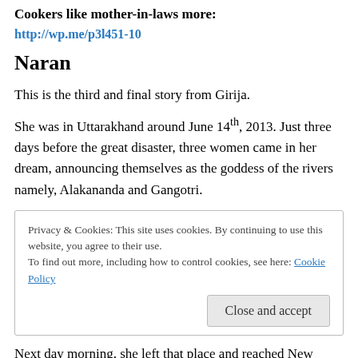Cookers like mother-in-laws more:
http://wp.me/p3l451-10
Naran
This is the third and final story from Girija.
She was in Uttarakhand around June 14th, 2013. Just three days before the great disaster, three women came in her dream, announcing themselves as the goddess of the rivers namely, Alakananda and Gangotri.
Privacy & Cookies: This site uses cookies. By continuing to use this website, you agree to their use. To find out more, including how to control cookies, see here: Cookie Policy
Next day morning, she left that place and reached New